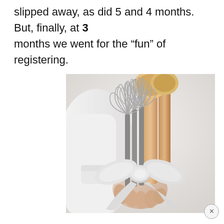slipped away, as did 5 and 4 months. But, finally, at 3 months we went for the “fun” of registering.
[Figure (photo): A person holding a bouquet of kitchen utensils — multiple wire whisks and wooden spoons — tied together with a white satin ribbon bow, held against a white background.]